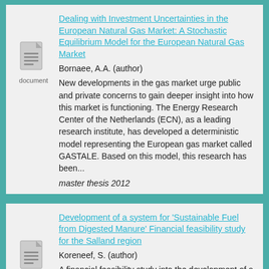Dealing with Investment Uncertainties in the European Natural Gas Market: A Stochastic Equilibrium Model for the European Natural Gas Market
Bornaee, A.A. (author)
New developments in the gas market urge public and private concerns to gain deeper insight into how this market is functioning. The Energy Research Center of the Netherlands (ECN), as a leading research institute, has developed a deterministic model representing the European gas market called GASTALE. Based on this model, this research has been...
master thesis 2012
Development of a system for 'Sustainable Fuel from Digested Manure' Financial feasibility study for the Salland region
Koreneef, S. (author)
A financial feasibility study into the development of a 'sustainable fuel from digested manure' system for the Salland region within the Province of Overijssel in the Netherlands. This is a specific